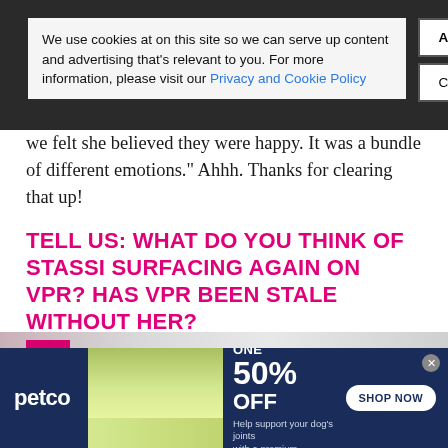We use cookies at on this site so we can serve up content and advertising that's relevant to you. For more information, please visit our Privacy and Cookie Policy
Accept Cookies
Cookie Information
we felt she believed they were happy. It was a bundle of different emotions." Ahhh. Thanks for clearing that up!
TELL US: WHAT DO YOU THINK OF STASSI SURFACING AGAIN ON VPR? HAS VPR BEEN STALE WITHOUT HER?
Photo Credit: Gabriel Olsen/FilmMagic
[Figure (photo): Partial view of a photo strip, pink/magenta element visible on left]
[Figure (photo): Petco advertisement banner: Buy One Get One 50% Off dog joint supplement, with woman and golden retriever image]